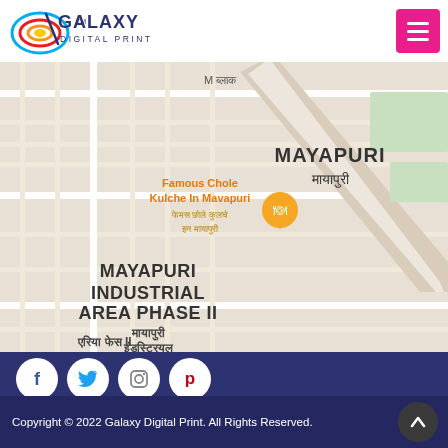[Figure (logo): Galaxy Digital Print logo with colorful circular design and dark blue text]
[Figure (map): Google Maps screenshot showing Mayapuri Industrial Area Phase II in New Delhi, with Hindi text labels and a restaurant marker for Famous Chole Kulche In Mavapuri]
[Figure (infographic): Social media icons (Facebook, Twitter, Instagram, Pinterest) in white circles on dark blue background, and a pink Send Enquiry button with envelope icon]
Copyright © 2022 Galaxy Digital Print. All Rights Reserved.